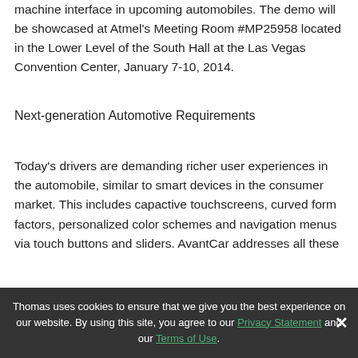machine interface in upcoming automobiles. The demo will be showcased at Atmel's Meeting Room #MP25958 located in the Lower Level of the South Hall at the Las Vegas Convention Center, January 7-10, 2014.
Next-generation Automotive Requirements
Today's drivers are demanding richer user experiences in the automobile, similar to smart devices in the consumer market. This includes capactive touchscreens, curved form factors, personalized color schemes and navigation menus via touch buttons and sliders. AvantCar addresses all these
Thomas uses cookies to ensure that we give you the best experience on our website. By using this site, you agree to our Privacy Statement and our Terms of Use.